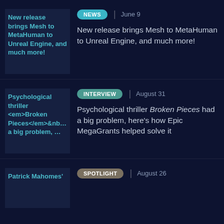[Figure (screenshot): Thumbnail image placeholder for 'New release brings Mesh to MetaHuman to Unreal Engine, and much more!']
NEWS | June 9
New release brings Mesh to MetaHuman to Unreal Engine, and much more!
[Figure (screenshot): Thumbnail image placeholder for 'Psychological thriller Broken Pieces had a big problem, here’s how Epic MegaGrants helped solve it']
INTERVIEW | August 31
Psychological thriller Broken Pieces had a big problem, here’s how Epic MegaGrants helped solve it
[Figure (screenshot): Thumbnail image placeholder for Patrick Mahomes article]
SPOTLIGHT | August 26